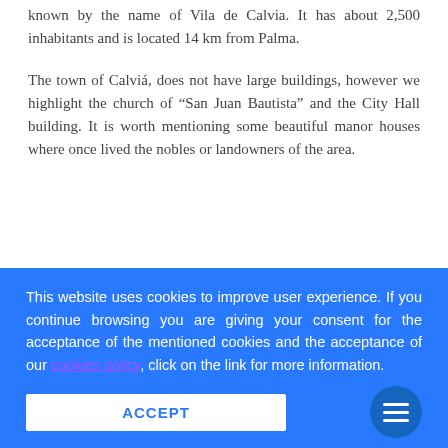known by the name of Vila de Calvia. It has about 2,500 inhabitants and is located 14 km from Palma.
The town of Calviá, does not have large buildings, however we highlight the church of "San Juan Bautista" and the City Hall building. It is worth mentioning some beautiful manor houses where once lived the nobles or landowners of the area.
This website uses cookies to improve user experience. If you continue browsing you are giving your consent for the acceptance of the mentioned cookies and the acceptance of our cookies policy, click on the link for more information.
ACCEPT